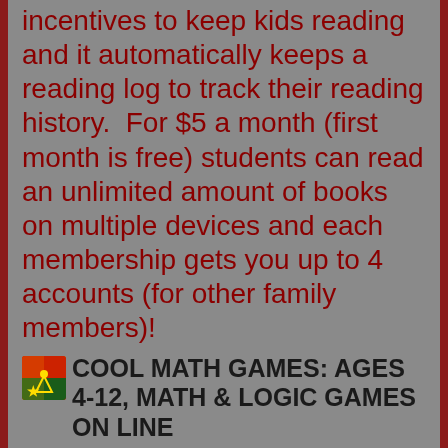incentives to keep kids reading and it automatically keeps a reading log to track their reading history.  For $5 a month (first month is free) students can read an unlimited amount of books on multiple devices and each membership gets you up to 4 accounts (for other family members)!
COOL MATH GAMES: AGES 4-12, MATH & LOGIC GAMES ON LINE